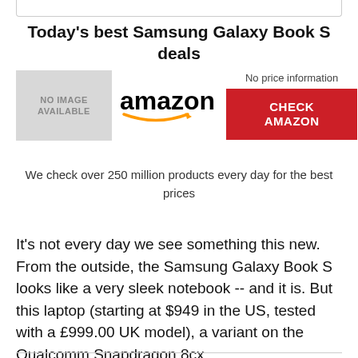Today's best Samsung Galaxy Book S deals
[Figure (other): No image available placeholder box (grey) alongside Amazon logo and a red CHECK AMAZON button with 'No price information' label]
We check over 250 million products every day for the best prices
It's not every day we see something this new. From the outside, the Samsung Galaxy Book S looks like a very sleek notebook -- and it is. But this laptop (starting at $949 in the US, tested with a £999.00 UK model), a variant on the Qualcomm Snapdragon 8cx